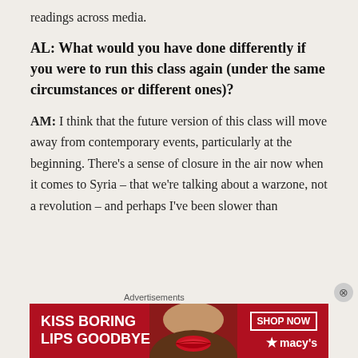readings across media.
AL: What would you have done differently if you were to run this class again (under the same circumstances or different ones)?
AM: I think that the future version of this class will move away from contemporary events, particularly at the beginning. There's a sense of closure in the air now when it comes to Syria – that we're talking about a warzone, not a revolution – and perhaps I've been slower than
[Figure (other): Advertisement banner for Macy's lipstick: 'KISS BORING LIPS GOODBYE' with a SHOP NOW button and Macy's logo star.]